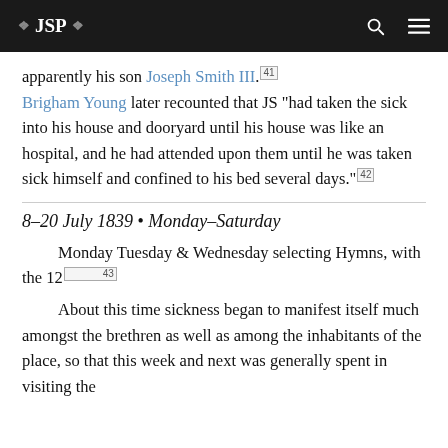❖ JSP ❖
apparently his son Joseph Smith III.[41] Brigham Young later recounted that JS "had taken the sick into his house and dooryard until his house was like an hospital, and he had attended upon them until he was taken sick himself and confined to his bed several days."[42]
8–20 July 1839 • Monday–Saturday
Monday Tuesday & Wednesday selecting Hymns, with the 12[43]
About this time sickness began to manifest itself much amongst the brethren as well as among the inhabitants of the place, so that this week and next was generally spent in visiting the